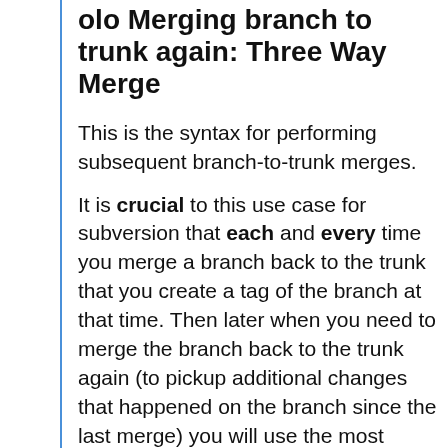olo Merging branch to trunk again: Three Way Merge
This is the syntax for performing subsequent branch-to-trunk merges.
It is crucial to this use case for subversion that each and every time you merge a branch back to the trunk that you create a tag of the branch at that time. Then later when you need to merge the branch back to the trunk again (to pickup additional changes that happened on the branch since the last merge) you will use the most recent tag. The syntax for this is